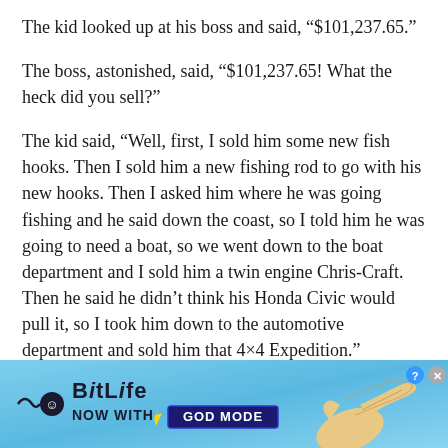The kid looked up at his boss and said, “$101,237.65.”
The boss, astonished, said, “$101,237.65! What the heck did you sell?”
The kid said, “Well, first, I sold him some new fish hooks. Then I sold him a new fishing rod to go with his new hooks. Then I asked him where he was going fishing and he said down the coast, so I told him he was going to need a boat, so we went down to the boat department and I sold him a twin engine Chris-Craft. Then he said he didn’t think his Honda Civic would pull it, so I took him down to the automotive department and sold him that 4×4 Expedition.”
Astonished at what he just heard, the boss said, “You’re
[Figure (infographic): BitLife advertisement banner with light blue gradient background, BitLife logo with smiley face icon, 'NOW WITH GOD MODE' text, pointing hand illustration, close and help buttons]